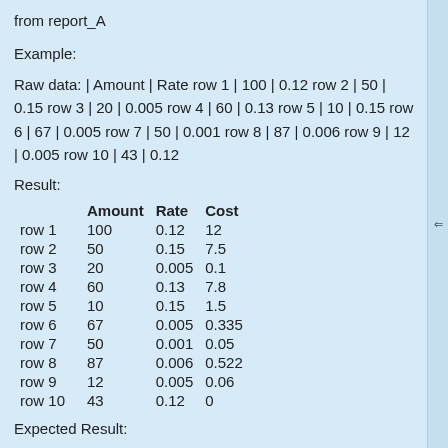from report_A
Example:
Raw data: | Amount | Rate row 1 | 100 | 0.12 row 2 | 50 | 0.15 row 3 | 20 | 0.005 row 4 | 60 | 0.13 row 5 | 10 | 0.15 row 6 | 67 | 0.005 row 7 | 50 | 0.001 row 8 | 87 | 0.006 row 9 | 12 | 0.005 row 10 | 43 | 0.12
Result:
|  | Amount | Rate | Cost |
| --- | --- | --- | --- |
| row 1 | 100 | 0.12 | 12 |
| row 2 | 50 | 0.15 | 7.5 |
| row 3 | 20 | 0.005 | 0.1 |
| row 4 | 60 | 0.13 | 7.8 |
| row 5 | 10 | 0.15 | 1.5 |
| row 6 | 67 | 0.005 | 0.335 |
| row 7 | 50 | 0.001 | 0.05 |
| row 8 | 87 | 0.006 | 0.522 |
| row 9 | 12 | 0.005 | 0.06 |
| row 10 | 43 | 0.12 | 0 |
Expected Result: